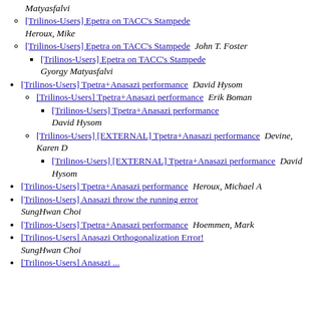Matyasfalvi (italic, top partial)
[Trilinos-Users] Epetra on TACC's Stampede  Heroux, Mike
[Trilinos-Users] Epetra on TACC's Stampede  John T. Foster
[Trilinos-Users] Epetra on TACC's Stampede  Gyorgy Matyasfalvi
[Trilinos-Users] Tpetra+Anasazi performance  David Hysom
[Trilinos-Users] Tpetra+Anasazi performance  Erik Boman
[Trilinos-Users] Tpetra+Anasazi performance  David Hysom
[Trilinos-Users] [EXTERNAL] Tpetra+Anasazi performance  Devine, Karen D
[Trilinos-Users] [EXTERNAL] Tpetra+Anasazi performance  David Hysom
[Trilinos-Users] Tpetra+Anasazi performance  Heroux, Michael A
[Trilinos-Users] Anasazi throw the running error  SungHwan Choi
[Trilinos-Users] Tpetra+Anasazi performance  Hoemmen, Mark
[Trilinos-Users] Anasazi Orthogonalization Error!  SungHwan Choi
[Trilinos-Users] Anasazi ... (partial, cut off)